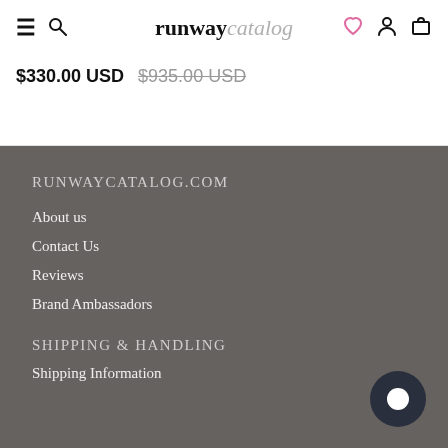runway catalog — navigation header with hamburger, search, logo, heart, account, cart icons
$330.00 USD $935.00 USD (strikethrough)
RUNWAYCATALOG.COM
About us
Contact Us
Reviews
Brand Ambassadors
SHIPPING & HANDLING
Shipping Information